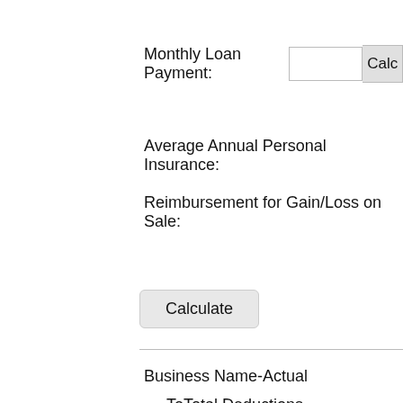Monthly Loan Payment:
Average Annual Personal Insurance:
Reimbursement for Gain/Loss on Sale:
Calculate
Business Name-Actual
ToTotal Deductions
Less: Personal Addbacks
Total Tax Deductionst